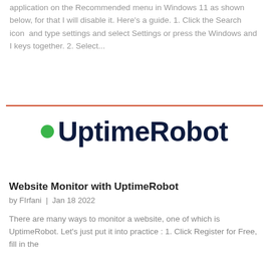application on the Recommended menu in Windows 11 as shown below, for that I will disable it. Here's a guide. 1. Click the Search icon and type settings and select Settings or press the Windows and I keys together. 2. Select...
[Figure (logo): UptimeRobot logo with green dot and dark navy bold text]
Website Monitor with UptimeRobot
by FIrfani | Jan 18 2022
There are many ways to monitor a website, one of which is UptimeRobot. Let's just put it into practice : 1. Click Register for Free, fill in the